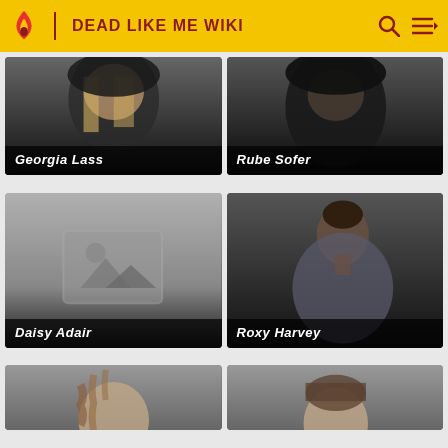DEAD LIKE ME WIKI
[Figure (photo): Character card for Georgia Lass – dark hooded figure with blonde hair, gradient dark background]
[Figure (photo): Character card for Rube Sofer – dark hooded figure, very dark background]
[Figure (photo): Character card for Daisy Adair – placeholder image icon on gradient grey-to-black background]
[Figure (photo): Character card for Roxy Harvey – woman in grey shirt posing, dark background]
[Figure (photo): Partial character card bottom-left – person with wavy hair, cropped]
[Figure (photo): Partial character card bottom-right – man with short hair, cropped]